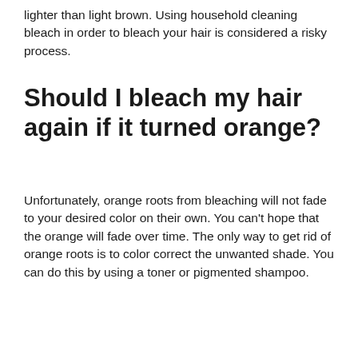lighter than light brown. Using household cleaning bleach in order to bleach your hair is considered a risky process.
Should I bleach my hair again if it turned orange?
Unfortunately, orange roots from bleaching will not fade to your desired color on their own. You can't hope that the orange will fade over time. The only way to get rid of orange roots is to color correct the unwanted shade. You can do this by using a toner or pigmented shampoo.